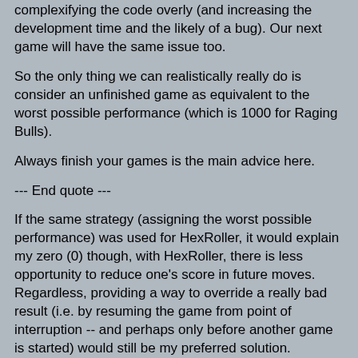complexifying the code overly (and increasing the development time and the likely of a bug). Our next game will have the same issue too.
So the only thing we can realistically really do is consider an unfinished game as equivalent to the worst possible performance (which is 1000 for Raging Bulls).
Always finish your games is the main advice here.
--- End quote ---
If the same strategy (assigning the worst possible performance) was used for HexRoller, it would explain my zero (0) though, with HexRoller, there is less opportunity to reduce one's score in future moves.  Regardless, providing a way to override a really bad result (i.e. by resuming the game from point of interruption -- and perhaps only before another game is started) would still be my preferred solution.
Navigation
[0] Message Index
Go to full version